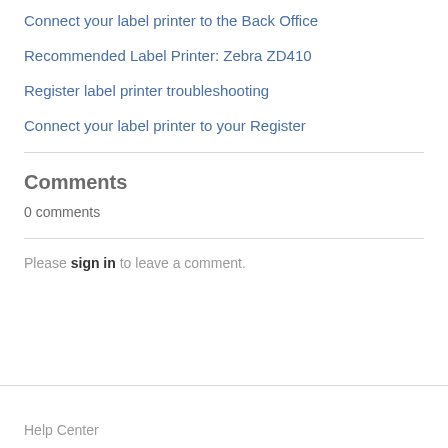Connect your label printer to the Back Office
Recommended Label Printer: Zebra ZD410
Register label printer troubleshooting
Connect your label printer to your Register
Comments
0 comments
Please sign in to leave a comment.
Help Center